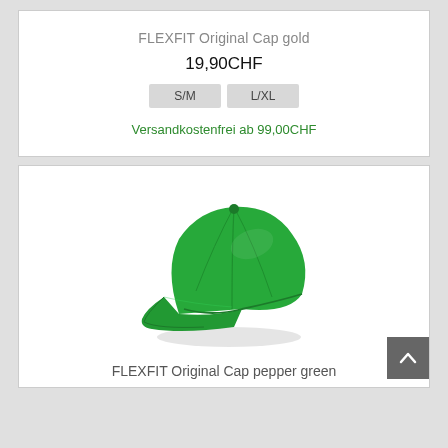FLEXFIT Original Cap gold
19,90CHF
S/M   L/XL
Versandkostenfrei ab 99,00CHF
[Figure (photo): Green baseball cap (FLEXFIT Original Cap pepper green) shown at an angle on a white background]
FLEXFIT Original Cap pepper green